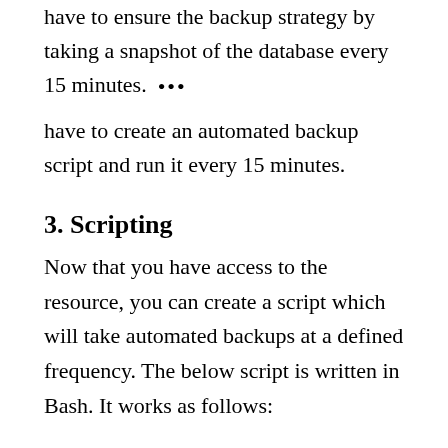have to ensure the backup strategy by taking a snapshot of the database every 15 minutes.
have to create an automated backup script and run it every 15 minutes.
3. Scripting
Now that you have access to the resource, you can create a script which will take automated backups at a defined frequency. The below script is written in Bash. It works as follows:
First, it finds the list of volumes with the